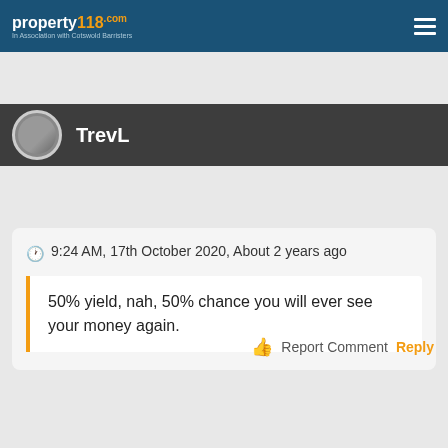property118.com — In Association with Cotswold Barristers
TrevL
9:24 AM, 17th October 2020, About 2 years ago
50% yield, nah, 50% chance you will ever see your money again.
Report Comment Reply
Mark Alexander - Founder of Property118 View Profile
10:09 PM, 18th October 2020, About 2